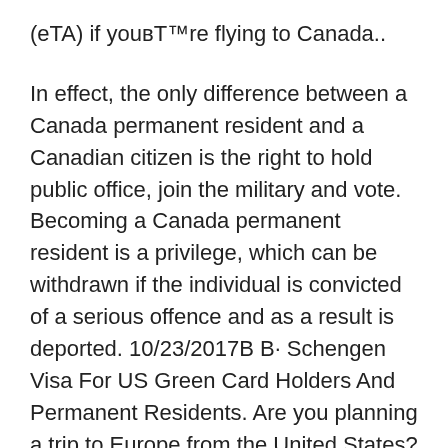(eTA) if you're flying to Canada..
In effect, the only difference between a Canada permanent resident and a Canadian citizen is the right to hold public office, join the military and vote. Becoming a Canada permanent resident is a privilege, which can be withdrawn if the individual is convicted of a serious offence and as a result is deported. 10/23/2017B B· Schengen Visa For US Green Card Holders And Permanent Residents. Are you planning a trip to Europe from the United States? Whether you are a US passport holder or US permanent resident or a US green card holder or have US visa, you need to know certain a requirements to apply